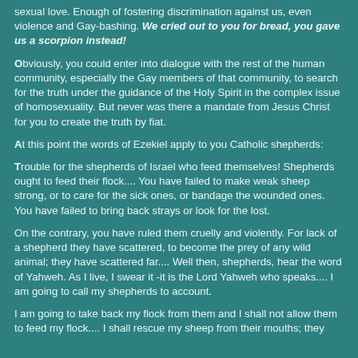sexual love. Enough of fostering discrimination against us, even violence and Gay-bashing. We cried out to you for bread, you gave us a scorpion instead!
Obviously, you could enter into dialogue with the rest of the human community, especially the Gay members of that community, to search for the truth under the guidance of the Holy Spirit in the complex issue of homosexuality. But never was there a mandate from Jesus Christ for you to create the truth by fiat.
At this point the words of Ezekiel apply to you Catholic shepherds:
Trouble for the shepherds of Israel who feed themselves! Shepherds ought to feed their flock.... You have failed to make weak sheep strong, or to care for the sick ones, or bandage the wounded ones. You have failed to bring back strays or look for the lost.
On the contrary, you have ruled them cruelly and violently. For lack of a shepherd they have scattered, to become the prey of any wild animal; they have scattered far.... Well then, shepherds, hear the word of Yahweh. As I live, I swear it -it is the Lord Yahweh who speaks.... I am going to call my shepherds to account.
I am going to take back my flock from them and I shall not allow them to feed my flock.... I shall rescue my sheep from their mouths; they will no longer prey on them. (Ezekiel 34:1-5)